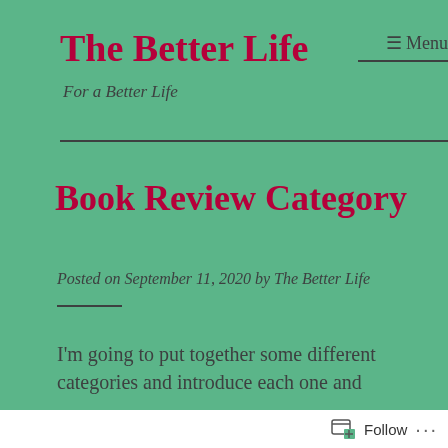The Better Life
For a Better Life
≡ Menu
Book Review Category
Posted on September 11, 2020 by The Better Life
I'm going to put together some different categories and introduce each one and